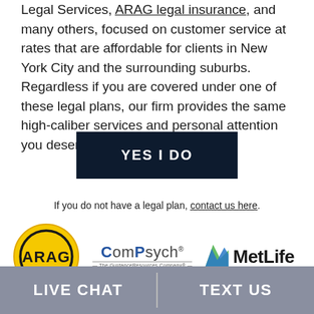Legal Services, ARAG legal insurance, and many others, focused on customer service at rates that are affordable for clients in New York City and the surrounding suburbs. Regardless if you are covered under one of these legal plans, our firm provides the same high-caliber services and personal attention you deserve.
[Figure (other): Dark navy button with white bold text reading YES I DO]
If you do not have a legal plan, contact us here.
[Figure (logo): Three logos side by side: ARAG (yellow circle with black text), ComPsych - The GuidanceResources Company (blue text), and MetLife (blue/green chevron icon with black bold text)]
LIVE CHAT   TEXT US